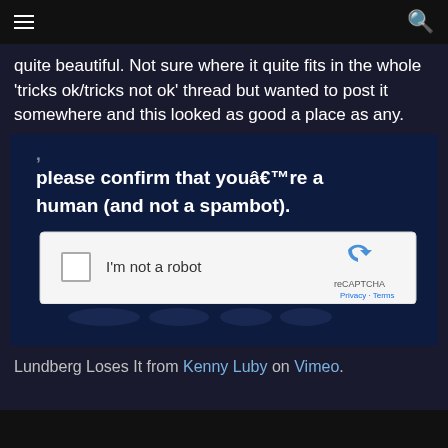menu / search icons
quite beautiful. Not sure where it quite fits in the whole 'tricks ok/tricks not ok' thread but wanted to post it somewhere and this looked as good a place as any.
[Figure (screenshot): A reCAPTCHA widget overlay on a dark navy background. The overlay shows text 'please confirm that youâ€™re a human (and not a spambot).' above a white reCAPTCHA checkbox widget with 'I’m not a robot' text and reCAPTCHA branding logo.]
Lundberg Loses It from Kenny Luby on Vimeo.